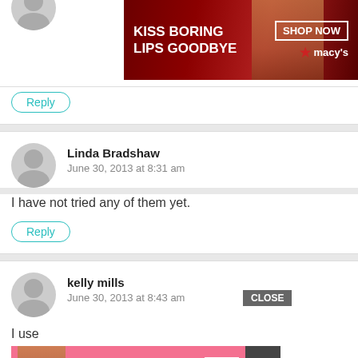[Figure (other): Macy's lipstick advertisement banner: KISS BORING LIPS GOODBYE, SHOP NOW, with model image]
I've never used any of those oils, but would like to try!
Reply
Linda Bradshaw
June 30, 2013 at 8:31 am
I have not tried any of them yet.
Reply
kelly mills
June 30, 2013 at 8:43 am
I use
[Figure (other): Victoria's Secret advertisement banner: SHOP THE COLLECTION, SHOP NOW, with model image]
CLOSE